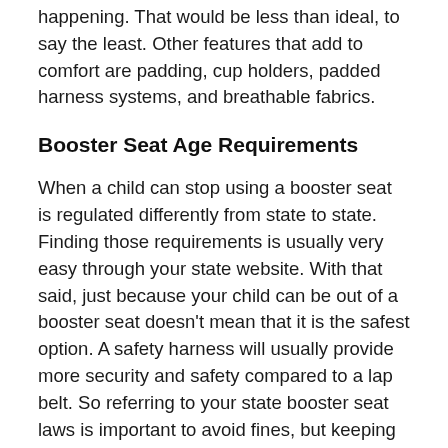happening. That would be less than ideal, to say the least. Other features that add to comfort are padding, cup holders, padded harness systems, and breathable fabrics.
Booster Seat Age Requirements
When a child can stop using a booster seat is regulated differently from state to state. Finding those requirements is usually very easy through your state website. With that said, just because your child can be out of a booster seat doesn't mean that it is the safest option. A safety harness will usually provide more security and safety compared to a lap belt. So referring to your state booster seat laws is important to avoid fines, but keeping your child's safety in mind is paramount.